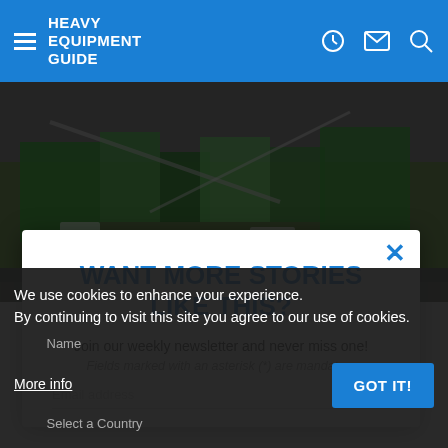HEAVY EQUIPMENT GUIDE
[Figure (photo): Aerial view of a construction or mining equipment exhibition site with green heavy machinery and vehicles]
WANT MORE STORIES LIKE THIS?
Join our weekly newsletter and never miss one!
Fields marked with an asterisk (*) are mandatory
We use cookies to enhance your experience. By continuing to visit this site you agree to our use of cookies.
More info
GOT IT!